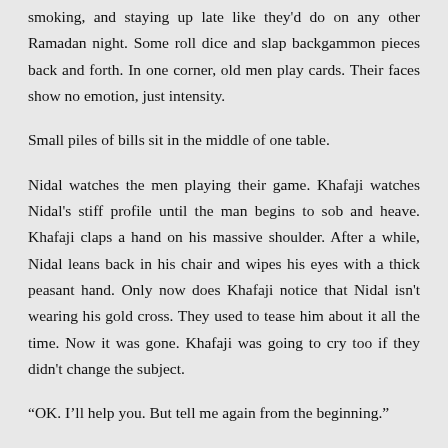smoking, and staying up late like they'd do on any other Ramadan night. Some roll dice and slap backgammon pieces back and forth. In one corner, old men play cards. Their faces show no emotion, just intensity.
Small piles of bills sit in the middle of one table.
Nidal watches the men playing their game. Khafaji watches Nidal's stiff profile until the man begins to sob and heave. Khafaji claps a hand on his massive shoulder. After a while, Nidal leans back in his chair and wipes his eyes with a thick peasant hand. Only now does Khafaji notice that Nidal isn't wearing his gold cross. They used to tease him about it all the time. Now it was gone. Khafaji was going to cry too if they didn't change the subject.
“OK. I’ll help you. But tell me again from the beginning.”
“One night last week Sawsan didn’t come back from work, and now Maha sits at home and cries all the time. She’s going out of her mind.